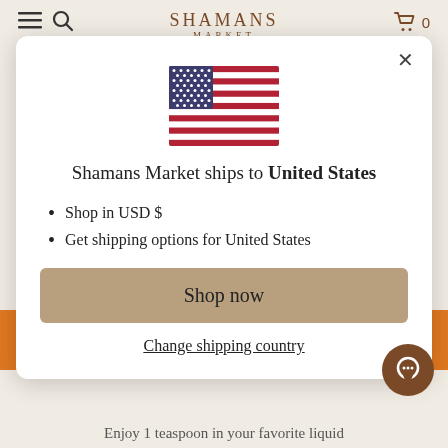SHAMANS MARKET
[Figure (illustration): US flag emoji/illustration centered in modal dialog]
Shamans Market ships to United States
Shop in USD $
Get shipping options for United States
Shop now
Change shipping country
Enjoy 1 teaspoon in your favorite liquid